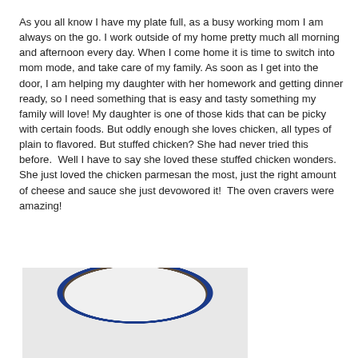As you all know I have my plate full, as a busy working mom I am always on the go. I work outside of my home pretty much all morning and afternoon every day. When I come home it is time to switch into mom mode, and take care of my family. As soon as I get into the door, I am helping my daughter with her homework and getting dinner ready, so I need something that is easy and tasty something my family will love! My daughter is one of those kids that can be picky with certain foods. But oddly enough she loves chicken, all types of plain to flavored. But stuffed chicken? She had never tried this before.  Well I have to say she loved these stuffed chicken wonders. She just loved the chicken parmesan the most, just the right amount of cheese and sauce she just devowored it!  The oven cravers were amazing!
[Figure (photo): Photo of a breaded stuffed chicken piece cut open showing cheese and filling inside, served on a white plate with blue rim, placed on a dark wooden surface.]